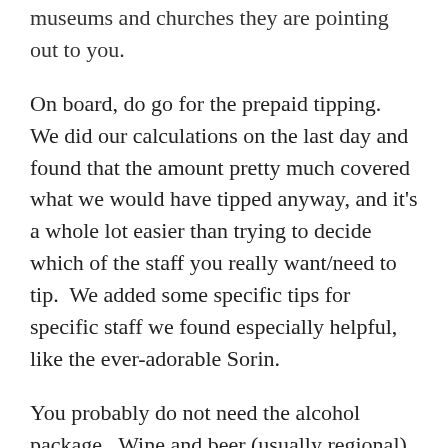museums and churches they are pointing out to you.
On board, do go for the prepaid tipping.  We did our calculations on the last day and found that the amount pretty much covered what we would have tipped anyway, and it's a whole lot easier than trying to decide which of the staff you really want/need to tip.  We added some specific tips for specific staff we found especially helpful, like the ever-adorable Sorin.
You probably do not need the alcohol package.  Wine and beer (usually regional) are included with the meals, and even if you have one or two cocktails a night in the lounge, the total comes nowhere close to the $300/cabin package cost.  It may be that the package covers bottles of wine not on the menu; you'd need to check that yourself.  If so, and that's your thing, then then alcohol package might be economical.